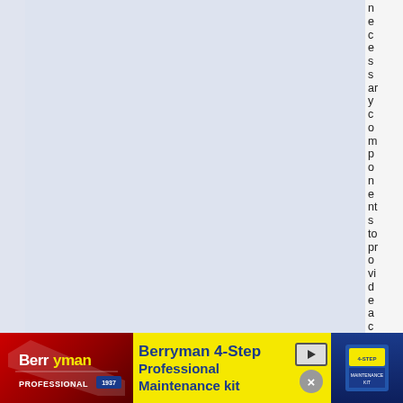necessary components to provide a complete,
[Figure (infographic): Berryman 4-Step Professional Maintenance Kit advertisement banner with yellow background, red logo area, blue text, product image, and close/play controls]